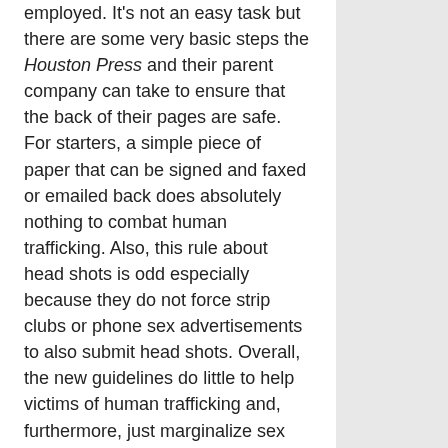employed. It's not an easy task but there are some very basic steps the Houston Press and their parent company can take to ensure that the back of their pages are safe. For starters, a simple piece of paper that can be signed and faxed or emailed back does absolutely nothing to combat human trafficking. Also, this rule about head shots is odd especially because they do not force strip clubs or phone sex advertisements to also submit head shots. Overall, the new guidelines do little to help victims of human trafficking and, furthermore, just marginalize sex workers even further. There are some very basic steps that can be implemented to potentially help enforce these new guidelines further:
Harris County Precinct 4 has created a regulatory enforcement unit that monitors massage parlors. They created a database of violations that are completely searchable by the public. If you Google the first sentence of this